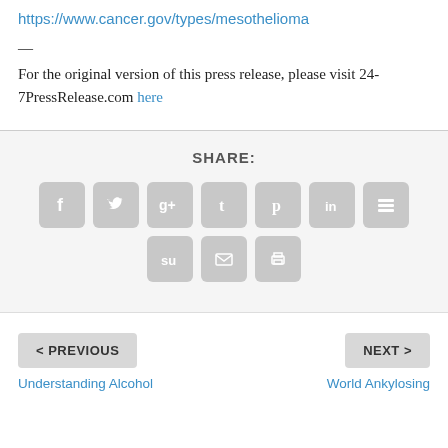https://www.cancer.gov/types/mesothelioma
—
For the original version of this press release, please visit 24-7PressRelease.com here
SHARE:
[Figure (infographic): Social media share buttons: Facebook, Twitter, Google+, Tumblr, Pinterest, LinkedIn, Buffer (top row); StumbleUpon, Email, Print (bottom row)]
< PREVIOUS
NEXT >
Understanding Alcohol
World Ankylosing